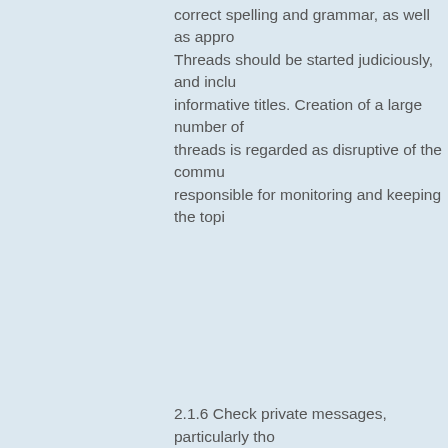correct spelling and grammar, as well as appro Threads should be started judiciously, and inclu informative titles. Creation of a large number of threads is regarded as disruptive of the commu responsible for monitoring and keeping the topi
2.1.6 Check private messages, particularly tho